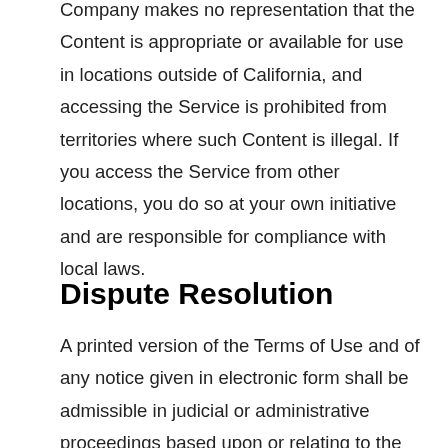Company makes no representation that the Content is appropriate or available for use in locations outside of California, and accessing the Service is prohibited from territories where such Content is illegal. If you access the Service from other locations, you do so at your own initiative and are responsible for compliance with local laws.
Dispute Resolution
A printed version of the Terms of Use and of any notice given in electronic form shall be admissible in judicial or administrative proceedings based upon or relating to the Terms